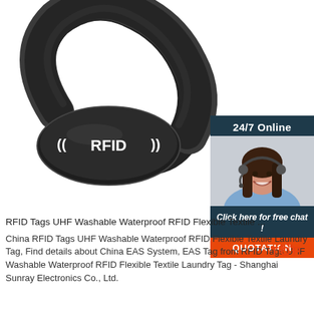[Figure (photo): Black RFID silicone wristband with white RFID logo text on oval face, shown on white background]
[Figure (infographic): 24/7 Online chat widget with photo of female customer service agent wearing headset, 'Click here for free chat!' text, and orange QUOTATION button]
RFID Tags UHF Washable Waterproof RFID Flexible Textile ...
China RFID Tags UHF Washable Waterproof RFID Flexible Textile Laundry Tag, Find details about China EAS System, EAS Tag from RFID Tags UHF Washable Waterproof RFID Flexible Textile Laundry Tag - Shanghai Sunray Electronics Co., Ltd.